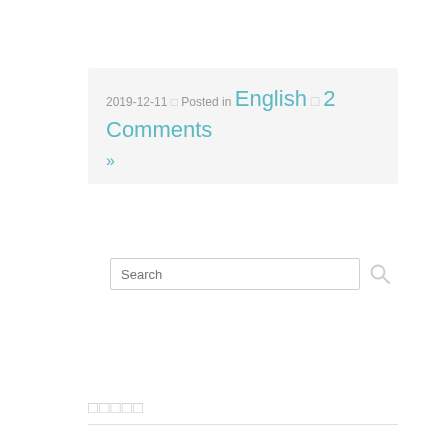2019-12-11 □ Posted in English □ 2 Comments »
[Figure (other): Search input box with magnifying glass icon]
□□□□□
#759 A book called "Letters of twelve